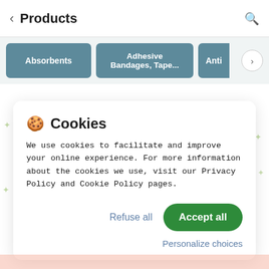< Products 🔍
Absorbents | Adhesive Bandages, Tape... | Anti >
🍪 Cookies
We use cookies to facilitate and improve your online experience. For more information about the cookies we use, visit our Privacy Policy and Cookie Policy pages.
Refuse all   Accept all
Personalize choices